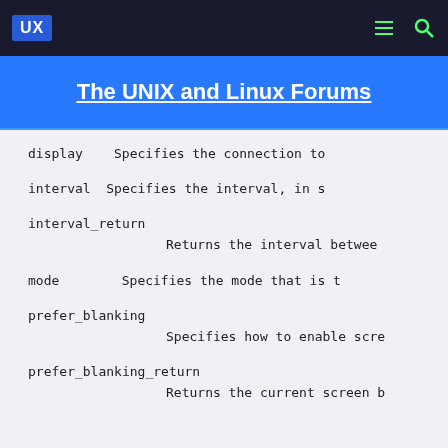UX | The UNIX and Linux Forums
The UNIX and Linux Forums
display    Specifies the connection to
interval   Specifies the interval, in s
interval_return
                Returns the interval betwee
mode       Specifies the mode that is t
prefer_blanking
                Specifies how to enable scre
prefer_blanking_return
                Returns the current screen b